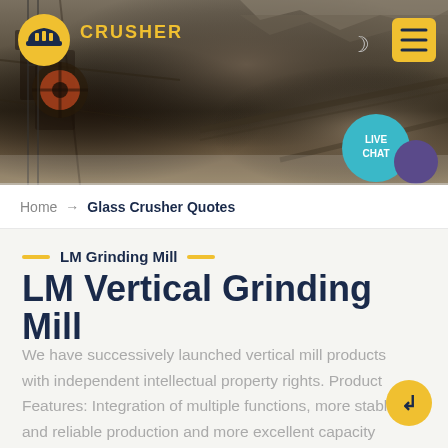[Figure (photo): Website header with quarry/mining site background photo, showing heavy machinery and rock face. Includes logo 'CRUSHER' with yellow icon on left, moon icon and yellow hamburger menu button on right, and 'LIVE CHAT' cyan bubble with purple circle on right side.]
Home → Glass Crusher Quotes
LM Grinding Mill
LM Vertical Grinding Mill
We have successively launched vertical mill products with independent intellectual property rights. Product Features: Integration of multiple functions, more stable and reliable production and more excellent capacity